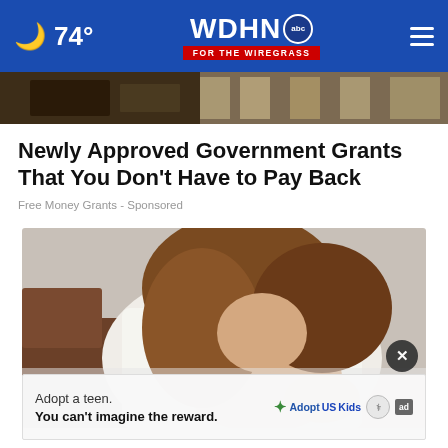74° WDHN abc FOR THE WIREGRASS
[Figure (photo): Partial view of a desk/money scene at top of article]
Newly Approved Government Grants That You Don't Have to Pay Back
Free Money Grants - Sponsored
[Figure (photo): Woman in white shirt leaning forward holding her chest, appearing to be in pain, sitting on a brown couch]
Adopt a teen. You can't imagine the reward. AdoptUSKids ad